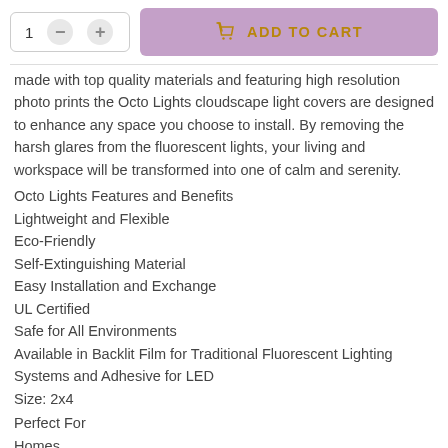[Figure (screenshot): Add to cart UI with quantity selector (1, minus, plus buttons) and a purple Add to Cart button with shopping bag icon]
made with top quality materials and featuring high resolution photo prints the Octo Lights cloudscape light covers are designed to enhance any space you choose to install. By removing the harsh glares from the fluorescent lights, your living and workspace will be transformed into one of calm and serenity.
Octo Lights Features and Benefits
Lightweight and Flexible
Eco-Friendly
Self-Extinguishing Material
Easy Installation and Exchange
UL Certified
Safe for All Environments
Available in Backlit Film for Traditional Fluorescent Lighting Systems and Adhesive for LED
Size: 2x4
Perfect For
Homes
Shops